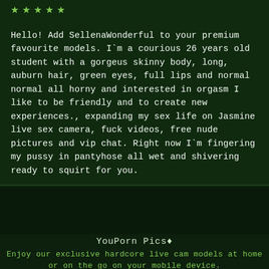[Figure (other): Five green star icons in a row representing a rating]
Hello! Add SellenaWonderful to your premium favourite models. I`m a courious 26 years old student with a gorgeus skinny body, long, auburn hair, green eyes, full lips and normal normal all horny and interested in orgasm I like to be friendly and to create new experiences., expanding my sex life on Jasmine live sex camera, fuck videos, free nude pictures and vip chat. Right now I`m fingering my pussy in pantyhose all wet and shivering ready to squirt for you.
YouPorn Pics♠
Enjoy our exclusive hardcore live cam models at home or on the go on your mobile device.